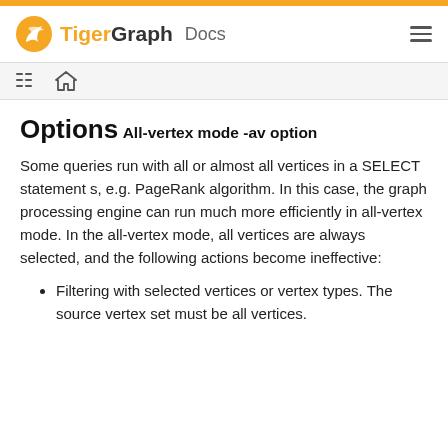TigerGraph Docs
Options
All-vertex mode -av option
Some queries run with all or almost all vertices in a SELECT statement s, e.g. PageRank algorithm. In this case, the graph processing engine can run much more efficiently in all-vertex mode. In the all-vertex mode, all vertices are always selected, and the following actions become ineffective:
Filtering with selected vertices or vertex types. The source vertex set must be all vertices.